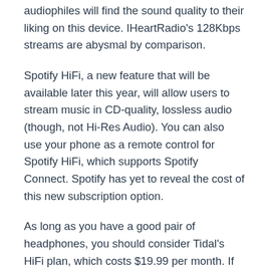audiophiles will find the sound quality to their liking on this device. IHeartRadio's 128Kbps streams are abysmal by comparison.
Spotify HiFi, a new feature that will be available later this year, will allow users to stream music in CD-quality, lossless audio (though, not Hi-Res Audio). You can also use your phone as a remote control for Spotify HiFi, which supports Spotify Connect. Spotify has yet to reveal the cost of this new subscription option.
As long as you have a good pair of headphones, you should consider Tidal's HiFi plan, which costs $19.99 per month. If you're looking for a high-quality, non-compressed 1411Kbps FLAC audio stream, Tidal has you covered. It gets even better with the addition of Tidal Masters, which is a music library with high-resolution audio editing directly on your. They...